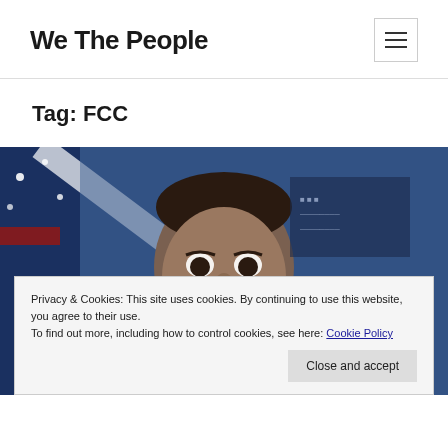We The People
Tag: FCC
[Figure (photo): Photo of a man (FCC-related figure) against a blue background with American flag elements]
Privacy & Cookies: This site uses cookies. By continuing to use this website, you agree to their use.
To find out more, including how to control cookies, see here: Cookie Policy
Close and accept